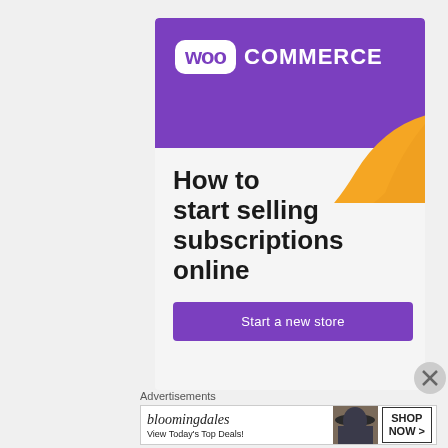[Figure (logo): WooCommerce advertisement banner. Purple header with WooCommerce logo (white bubble with 'woo' text and 'COMMERCE' beside it), orange decorative swoosh shape in lower right of header area. Body text: 'How to start selling subscriptions online'. Purple 'Start a new store' button. Gray/white close (X) button in corner.]
Advertisements
[Figure (screenshot): Bloomingdales advertisement banner. Shows bloomingdale's logo in italic serif font, tagline 'View Today's Top Deals!', image of woman in hat, and 'SHOP NOW >' button in a box.]